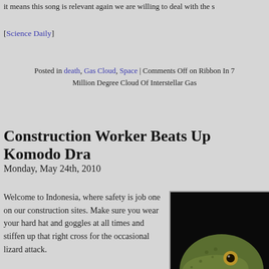it means this song is relevant again we are willing to deal with the s
[Science Daily]
Posted in death, Gas Cloud, Space | Comments Off on Ribbon In 7 Million Degree Cloud Of Interstellar Gas
Construction Worker Beats Up Komodo Dra
Monday, May 24th, 2010
Welcome to Indonesia, where safety is job one on our construction sites. Make sure you wear your hard hat and goggles at all times and stiffen up that right cross for the occasional lizard attack.
[Figure (photo): Close-up photo of a Komodo dragon with its mouth wide open, showing a pink tongue and teeth, dark background]
JAKARTA, Indonesia – An Indonesian worker freed himself from an attacking Komodo dragon by punching